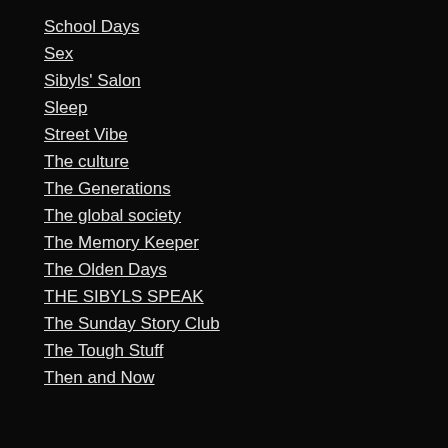School Days
Sex
Sibyls' Salon
Sleep
Street Vibe
The culture
The Generations
The global society
The Memory Keeper
The Olden Days
THE SIBYLS SPEAK
The Sunday Story Club
The Tough Stuff
Then and Now